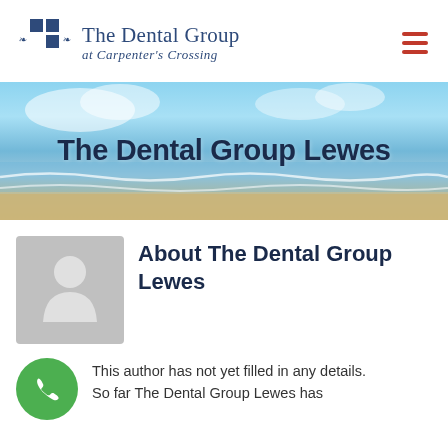[Figure (logo): The Dental Group at Carpenter's Crossing logo with blue grid icon and serif text]
[Figure (photo): Hero banner with beach/ocean scene, clear blue sky, waves, sandy shore]
The Dental Group Lewes
About The Dental Group Lewes
This author has not yet filled in any details.
So far The Dental Group Lewes has